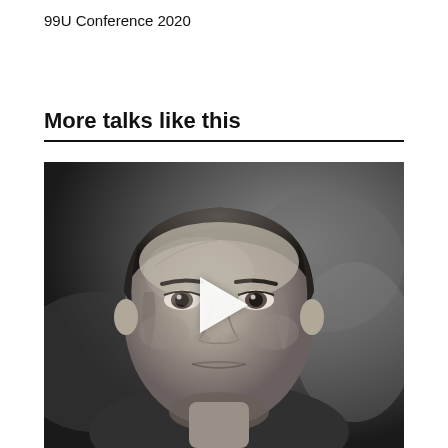99U Conference 2020
More talks like this
[Figure (photo): Black and white portrait photo of a middle-aged man looking directly at the camera, with a play button overlay in the center, suggesting a video thumbnail.]